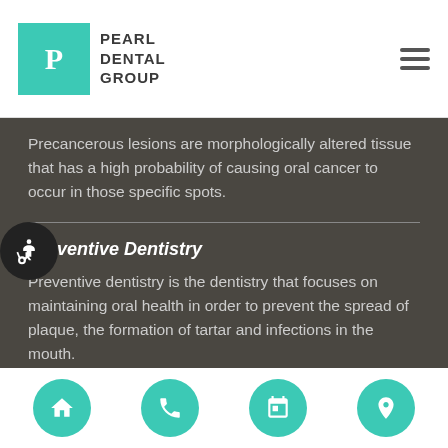Pearl Dental Group
Precancerous lesions are morphologically altered tissue that has a high probability of causing oral cancer to occur in those specific spots.
Preventive Dentistry
Preventive dentistry is the dentistry that focuses on maintaining oral health in order to prevent the spread of plaque, the formation of tartar and infections in the mouth.
T...
Navigation: Home, Phone, Calendar, Location